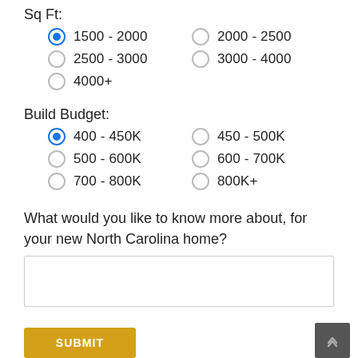Sq Ft:
1500 - 2000 (selected)
2000 - 2500
2500 - 3000
3000 - 4000
4000+
Build Budget:
400 - 450K (selected)
450 - 500K
500 - 600K
600 - 700K
700 - 800K
800K+
What would you like to know more about, for your new North Carolina home?